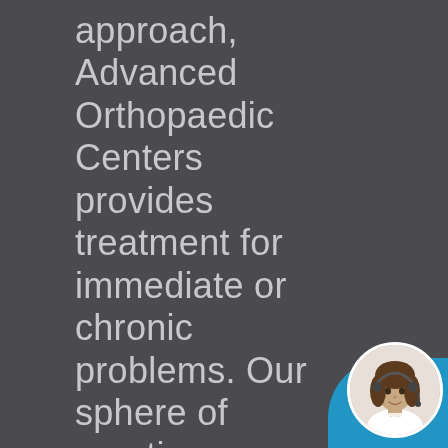approach, Advanced Orthopaedic Centers provides treatment for immediate or chronic problems. Our sphere of practice embraces Arthroscopic Surgeries, Custom Total Joint Replacements, Minimally Invasive
[Figure (photo): Circular avatar photo of a woman with brown hair wearing a headset, set against a blue rounded background in the bottom-right corner]